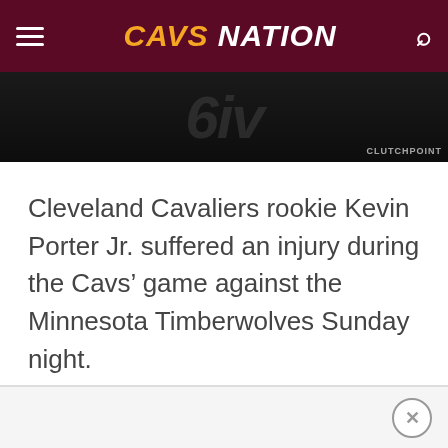CAVS NATION
[Figure (photo): Dark image strip showing a basketball player jersey silhouette with CLUTCHPOINT watermark in bottom right]
Cleveland Cavaliers rookie Kevin Porter Jr. suffered an injury during the Cavs’ game against the Minnesota Timberwolves Sunday night.